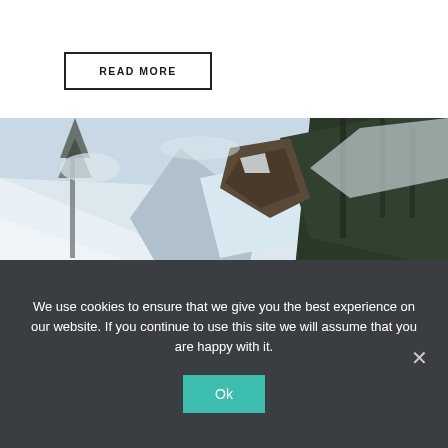READ MORE
[Figure (photo): Two skiers hiking up a steep snow-covered mountain slope surrounded by snow-laden pine trees, one carrying skis on his back with an orange helmet, another ahead in red gear, with more skiers visible in the background]
We use cookies to ensure that we give you the best experience on our website. If you continue to use this site we will assume that you are happy with it.
Ok